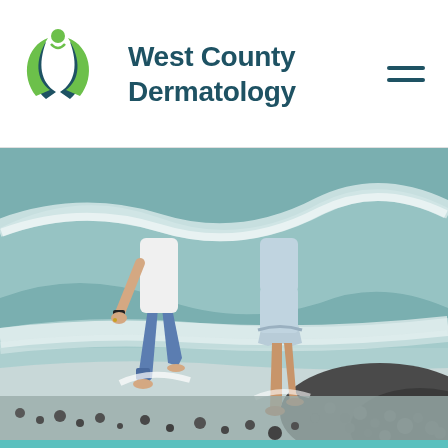[Figure (logo): West County Dermatology logo with green leaf and figure icon, dark teal text]
[Figure (photo): Two people (seen from behind) walking barefoot on a rocky beach with ocean waves, one wearing jeans and white shirt, the other wearing a light blue dress/skirt]